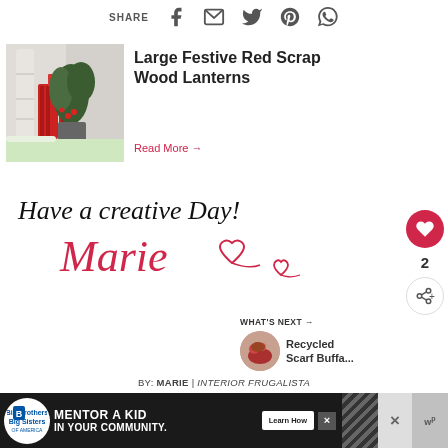SHARE [facebook] [email] [twitter] [pinterest] [whatsapp]
[Figure (photo): Red festive scrap wood lanterns on a porch with greenery and birch logs]
Large Festive Red Scrap Wood Lanterns
Read More →
[Figure (illustration): Handwritten script signature reading 'Have a creative Day! Marie' with heart doodles]
[Figure (infographic): Like button (heart icon, count 2) and share button]
[Figure (photo): WHAT'S NEXT thumbnail: Recycled Scarf Buffa...]
WHAT'S NEXT → Recycled Scarf Buffa...
BY: MARIE | INTERIOR FRUGALISTA
[Figure (infographic): Advertisement banner: Big Brothers Big Sisters logo, MENTOR A KID IN YOUR COMMUNITY, Learn How button]